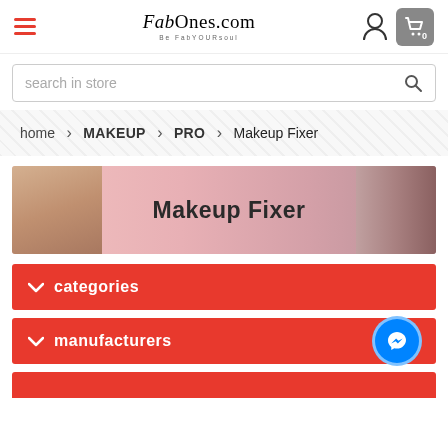FabOnes.com — Be FabYOURsoul | hamburger menu | user icon | cart (0)
search in store
home > MAKEUP > PRO > Makeup Fixer
[Figure (illustration): Makeup Fixer category banner with a woman applying makeup on the left, central bold text 'Makeup Fixer', and cosmetic bottles on the right on a pink gradient background]
categories
manufacturers